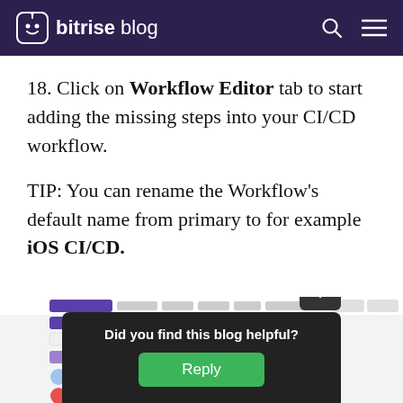bitrise blog
18. Click on Workflow Editor tab to start adding the missing steps into your CI/CD workflow.
TIP: You can rename the Workflow's default name from primary to for example iOS CI/CD.
[Figure (screenshot): Screenshot of the Bitrise Workflow Editor interface with an overlay dialog card asking 'Did you find this blog helpful?' with a Reply button and a chevron/collapse button.]